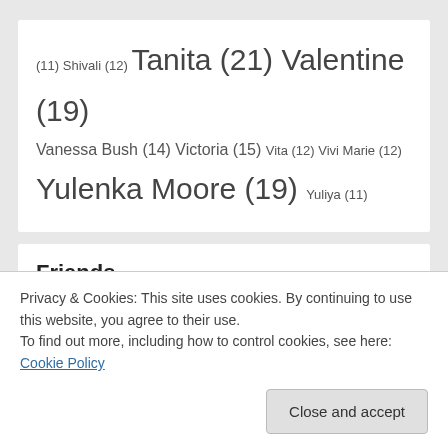(11) Shivali (12) Tanita (21) Valentine (19) Vanessa Bush (14) Victoria (15) Vita (12) Vivi Marie (12) Yulenka Moore (19) Yuliya (11)
Friends
YML Porn
Adult List - Quality Porn Sites
black valley girls
povd.com
Privacy & Cookies: This site uses cookies. By continuing to use this website, you agree to their use.
To find out more, including how to control cookies, see here: Cookie Policy
best hairy porn sites